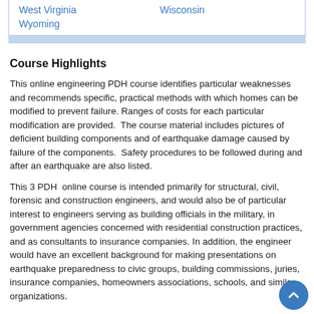| West Virginia | Wisconsin |
| Wyoming |  |
Course Highlights
This online engineering PDH course identifies particular weaknesses and recommends specific, practical methods with which homes can be modified to prevent failure. Ranges of costs for each particular modification are provided.  The course material includes pictures of deficient building components and of earthquake damage caused by failure of the components.  Safety procedures to be followed during and after an earthquake are also listed.
This 3 PDH  online course is intended primarily for structural, civil, forensic and construction engineers, and would also be of particular interest to engineers serving as building officials in the military, in government agencies concerned with residential construction practices, and as consultants to insurance companies. In addition, the engineer would have an excellent background for making presentations on earthquake preparedness to civic groups, building commissions, juries, insurance companies, homeowners associations, schools, and similar organizations.